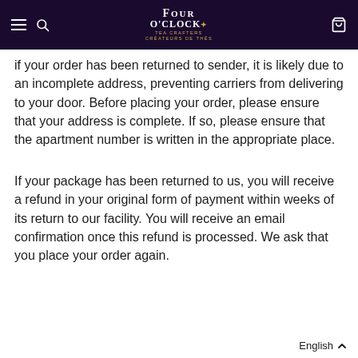FOUR O'CLOCK — Tea Crafters / Créateurs de thés (navigation header)
if your order has been returned to sender, it is likely due to an incomplete address, preventing carriers from delivering to your door. Before placing your order, please ensure that your address is complete. If so, please ensure that the apartment number is written in the appropriate place.
If your package has been returned to us, you will receive a refund in your original form of payment within weeks of its return to our facility. You will receive an email confirmation once this refund is processed. We ask that you place your order again.
English